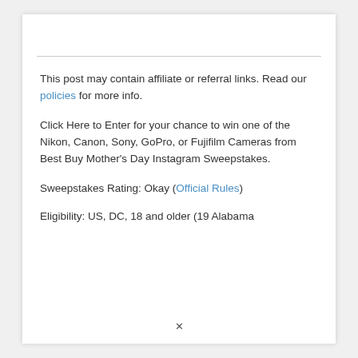This post may contain affiliate or referral links. Read our policies for more info.
Click Here to Enter for your chance to win one of the Nikon, Canon, Sony, GoPro, or Fujifilm Cameras from Best Buy Mother's Day Instagram Sweepstakes.
Sweepstakes Rating: Okay (Official Rules)
Eligibility: US, DC, 18 and older (19 Alabama